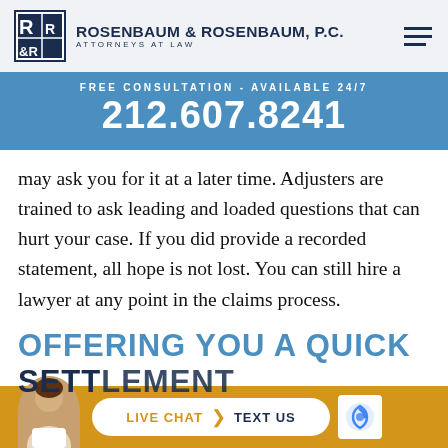[Figure (logo): Rosenbaum & Rosenbaum P.C. law firm logo — R&R monogram in dark navy square with white text, beside firm name]
ROSENBAUM & ROSENBAUM, P.C. ATTORNEYS AT LAW
FREE CONSULTATION - AVAILABLE 24/7
212.607.8241
may ask you for it at a later time. Adjusters are trained to ask leading and loaded questions that can hurt your case. If you did provide a recorded statement, all hope is not lost. You can still hire a lawyer at any point in the claims process.
OFFERING YOU A QUICK SETTLEMENT
LIVE CHAT  TEXT US